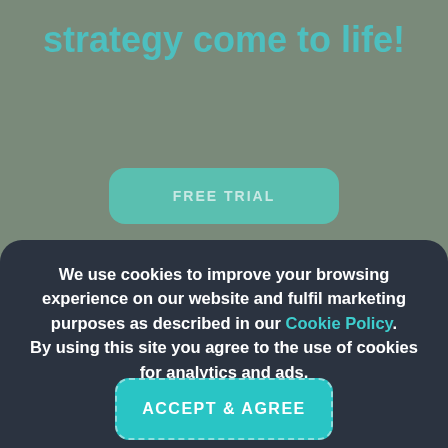strategy come to life!
[Figure (screenshot): FREE TRIAL button with teal rounded rectangle background]
We use cookies to improve your browsing experience on our website and fulfil marketing purposes as described in our Cookie Policy. By using this site you agree to the use of cookies for analytics and ads.
ACCEPT & AGREE